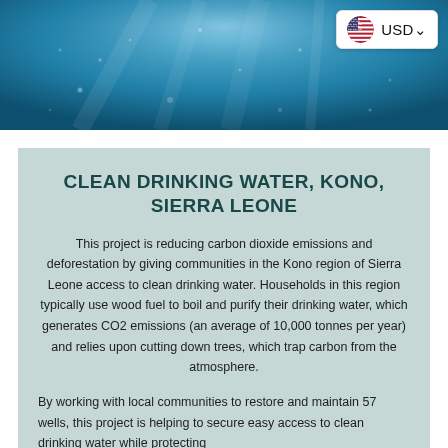[Figure (photo): Blue underwater ocean scene used as hero banner image]
[Figure (logo): USD currency selector badge with US flag icon]
CLEAN DRINKING WATER, KONO, SIERRA LEONE
This project is reducing carbon dioxide emissions and deforestation by giving communities in the Kono region of Sierra Leone access to clean drinking water. Households in this region typically use wood fuel to boil and purify their drinking water, which generates CO2 emissions (an average of 10,000 tonnes per year) and relies upon cutting down trees, which trap carbon from the atmosphere.
By working with local communities to restore and maintain 57 wells, this project is helping to secure easy access to clean drinking water while protecting